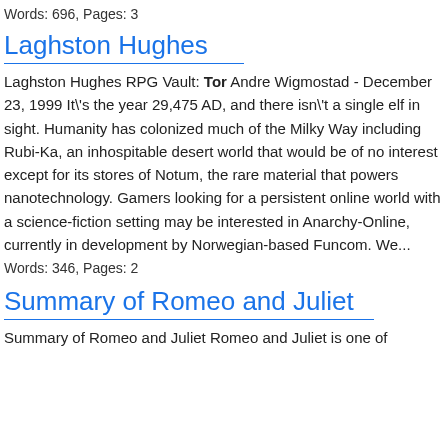Words: 696, Pages: 3
Laghston Hughes
Laghston Hughes RPG Vault: Tor Andre Wigmostad - December 23, 1999 It\'s the year 29,475 AD, and there isn\'t a single elf in sight. Humanity has colonized much of the Milky Way including Rubi-Ka, an inhospitable desert world that would be of no interest except for its stores of Notum, the rare material that powers nanotechnology. Gamers looking for a persistent online world with a science-fiction setting may be interested in Anarchy-Online, currently in development by Norwegian-based Funcom. We...
Words: 346, Pages: 2
Summary of Romeo and Juliet
Summary of Romeo and Juliet Romeo and Juliet is one of